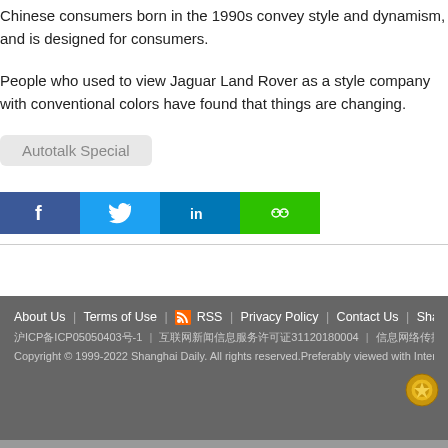Chinese consumers born in the 1990s convey style and dynamism, and is designed for consumers.
People who used to view Jaguar Land Rover as a style company with conventional colors have found that things are changing.
Autotalk Special
[Figure (other): Social media sharing buttons: Facebook, Twitter, LinkedIn, WeChat]
About Us | Terms of Use | RSS | Privacy Policy | Contact Us | Shanghai Call C... 沪ICP备ICP05050403号-1 | 互联网新闻信息服务许可证31120180004 | 信息网络传播视听节目许可证0909346 | 互联网出版许可证（沪）字35号 Copyright © 1999-2022 Shanghai Daily. All rights reserved.Preferably viewed with Internet Explorer 8 or newer browsers.